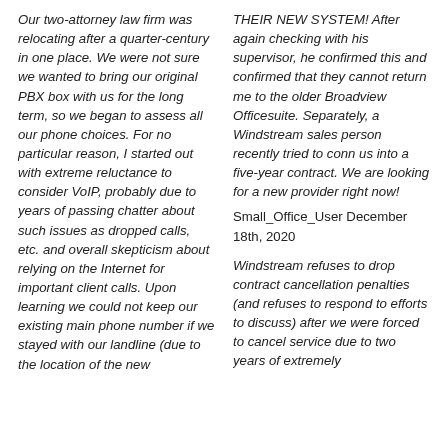Our two-attorney law firm was relocating after a quarter-century in one place.  We were not sure we wanted to bring our original PBX box with us for the long term, so we began to assess all our phone choices.  For no particular reason, I started out with extreme reluctance to consider VoIP, probably due to years of passing chatter about such issues as dropped calls, etc. and overall skepticism about relying on the Internet for important client calls.  Upon learning we could not keep our existing main phone number if we stayed with our landline (due to the location of the new...
THEIR NEW SYSTEM! After again checking with his supervisor, he confirmed this and confirmed that they cannot return me to the older Broadview Officesuite. Separately, a Windstream sales person recently tried to conn us into a five-year contract. We are looking for a new provider right now!
Small_Office_User December 18th, 2020
Windstream refuses to drop contract cancellation penalties (and refuses to respond to efforts to discuss) after we were forced to cancel service due to two years of extremely (reliable internet service...)